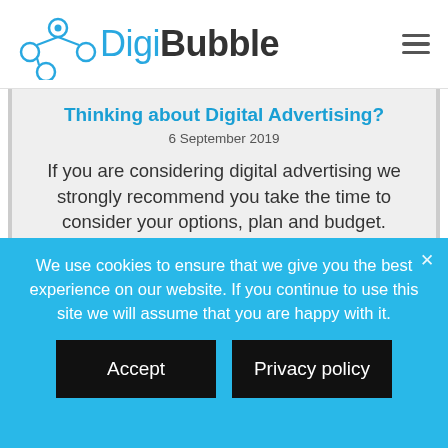[Figure (logo): DigiBubble logo with network nodes icon and text 'DigiBubble']
Thinking about Digital Advertising?
6 September 2019
If you are considering digital advertising we strongly recommend you take the time to consider your options, plan and budget. Without this foundation, you are
We use cookies to ensure that we give you the best experience on our website. If you continue to use this site we will assume that you are happy with it.
Accept
Privacy policy